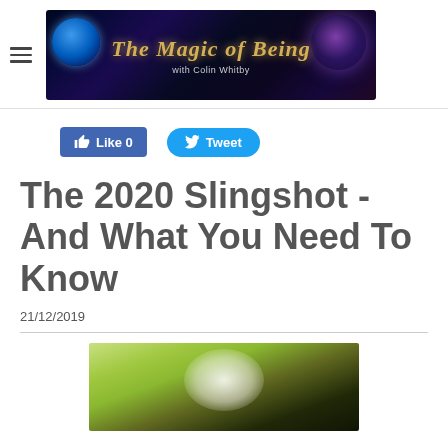The Magic of Being with Colin Whitby
[Figure (other): Social sharing buttons: Like 0 (Facebook) and Tweet (Twitter)]
The 2020 Slingshot - And What You Need To Know
21/12/2019
[Figure (photo): Blurred outdoor photo showing what appears to be a white-haired person or animal with green bokeh background]